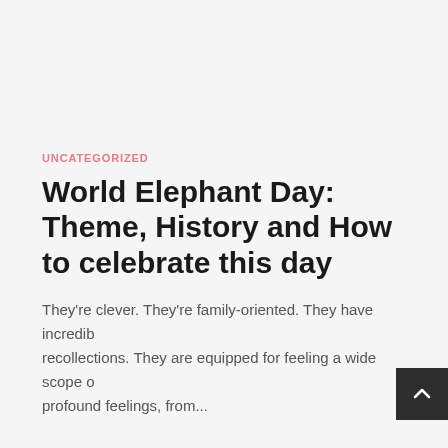UNCATEGORIZED
World Elephant Day: Theme, History and How to celebrate this day
They're clever. They're family-oriented. They have incredibly recollections. They are equipped for feeling a wide scope of profound feelings, from...